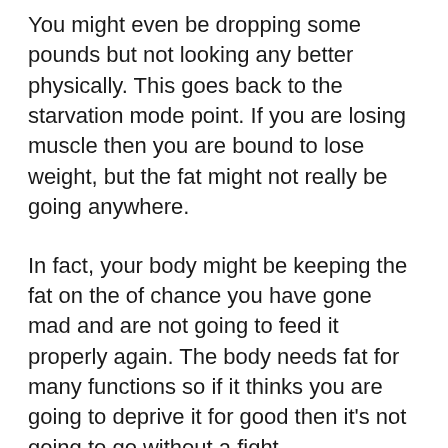You might even be dropping some pounds but not looking any better physically. This goes back to the starvation mode point. If you are losing muscle then you are bound to lose weight, but the fat might not really be going anywhere.
In fact, your body might be keeping the fat on the of chance you have gone mad and are not going to feed it properly again. The body needs fat for many functions so if it thinks you are going to deprive it for good then it's not going to go without a fight.
Scales tell you half of the truth, and it's often a false positive if you are losing weight but looking pretty similar. You can build some